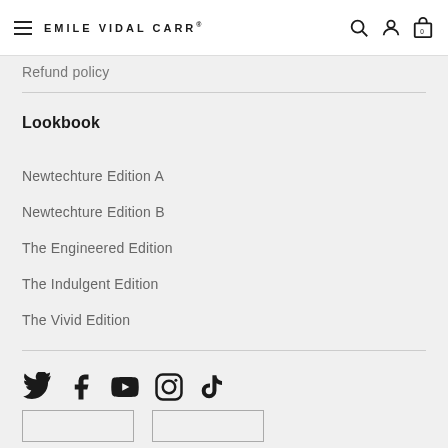EMILE VIDAL CARR
Refund policy
Lookbook
Newtechture Edition A
Newtechture Edition B
The Engineered Edition
The Indulgent Edition
The Vivid Edition
[Figure (infographic): Social media icons row: Twitter, Facebook, YouTube, Instagram, TikTok]